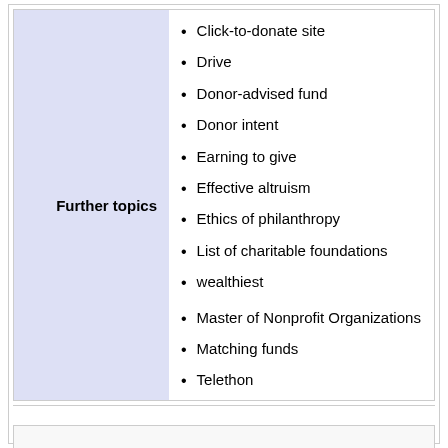Further topics
Click-to-donate site
Drive
Donor-advised fund
Donor intent
Earning to give
Effective altruism
Ethics of philanthropy
List of charitable foundations
wealthiest
Master of Nonprofit Organizations
Matching funds
Telethon
Visiting the sick
Volunteer grant
Wall of kindness
Warm-glow giving